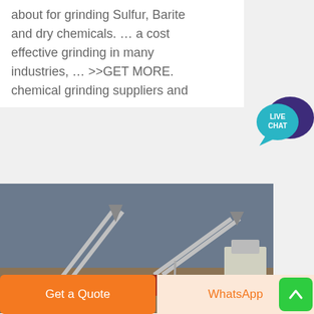about for grinding Sulfur, Barite and dry chemicals. … a cost effective grinding in many industries, … >>GET MORE. chemical grinding suppliers and
[Figure (photo): Industrial crushing/screening plant with conveyor belts on a dirt field under overcast sky]
CRU-11116 - Continental Agro
Get a Quote
WhatsApp